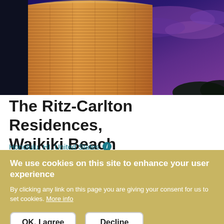[Figure (photo): Nighttime photo of The Ritz-Carlton Residences Waikiki Beach building exterior, illuminated in warm golden tones against a deep blue and purple twilight sky.]
The Ritz-Carlton Residences, Waikiki Beach
Honolulu, HI, United States
We use cookies on this site to enhance your user experience
By clicking any link on this page you are giving your consent for us to set cookies. More info
OK, I agree
Decline